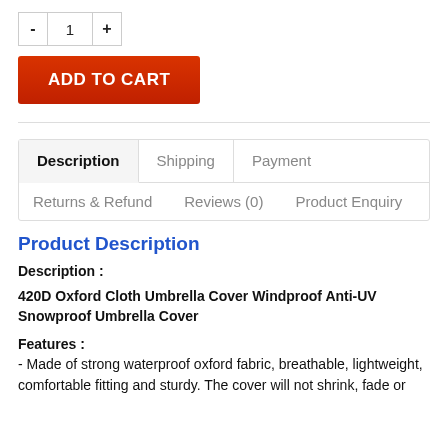- 1 +
ADD TO CART
Description | Shipping | Payment
Returns & Refund | Reviews (0) | Product Enquiry
Product Description
Description :
420D Oxford Cloth Umbrella Cover Windproof Anti-UV Snowproof Umbrella Cover
Features :
- Made of strong waterproof oxford fabric, breathable, lightweight, comfortable fitting and sturdy. The cover will not shrink, fade or